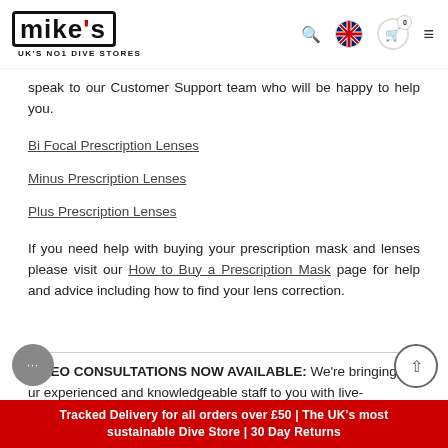mike's UK'S NO1 DIVE STORES
speak to our Customer Support team who will be happy to help you.
Bi Focal Prescription Lenses
Minus Prescription Lenses
Plus Prescription Lenses
If you need help with buying your prescription mask and lenses please visit our How to Buy a Prescription Mask page for help and advice including how to find your lens correction.
VIDEO CONSULTATIONS NOW AVAILABLE: We're bringing our experienced and knowledgeable staff to you with live-
Tracked Delivery for all orders over £50 | The UK's most sustainable Dive Store | 30 Day Returns